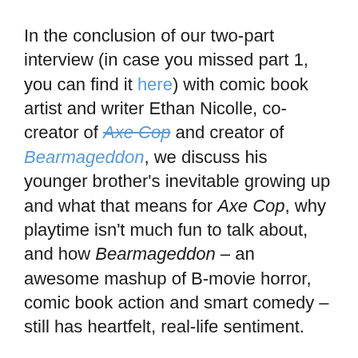In the conclusion of our two-part interview (in case you missed part 1, you can find it here) with comic book artist and writer Ethan Nicolle, co-creator of Axe Cop and creator of Bearmageddon, we discuss his younger brother's inevitable growing up and what that means for Axe Cop, why playtime isn't much fun to talk about, and how Bearmageddon – an awesome mashup of B-movie horror, comic book action and smart comedy – still has heartfelt, real-life sentiment.
Flightpath: You mentioned in the commentary during the first Axe Cop trade paperback that at a certain point, Malachai